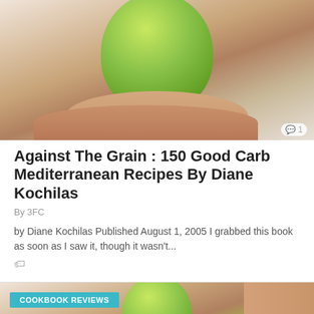[Figure (photo): A person holding a green apple in their palm, with a light background]
1
Against The Grain : 150 Good Carb Mediterranean Recipes By Diane Kochilas
By 3FC
by Diane Kochilas Published August 1, 2005 I grabbed this book as soon as I saw it, though it wasn't...
[Figure (photo): Second article card showing green apple with COOKBOOK REVIEWS badge]